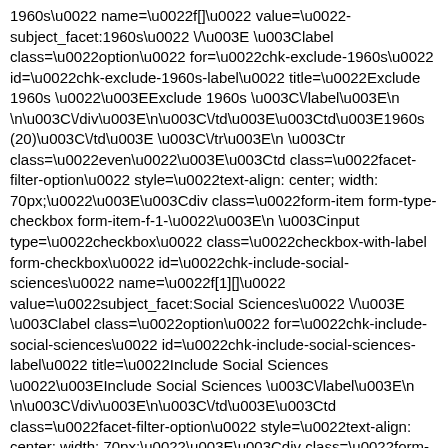1960s\u0022 name=\u0022f[]\u0022 value=\u0022-subject_facet:1960s\u0022 \/\u003E \u003Clabel class=\u0022option\u0022 for=\u0022chk-exclude-1960s\u0022 id=\u0022chk-exclude-1960s-label\u0022 title=\u0022Exclude 1960s \u0022\u003EExclude 1960s \u003C\/label\u003E\n \n\u003C\/div\u003E\n\u003C\/td\u003E\u003Ctd\u003E1960s (20)\u003C\/td\u003E \u003C\/tr\u003E\n \u003Ctr class=\u0022even\u0022\u003E\u003Ctd class=\u0022facet-filter-option\u0022 style=\u0022text-align: center; width: 70px;\u0022\u003E\u003Cdiv class=\u0022form-item form-type-checkbox form-item-f-1-\u0022\u003E\n \u003Cinput type=\u0022checkbox\u0022 class=\u0022checkbox-with-label form-checkbox\u0022 id=\u0022chk-include-social-sciences\u0022 name=\u0022f[1][]\u0022 value=\u0022subject_facet:Social Sciences\u0022 \/\u003E \u003Clabel class=\u0022option\u0022 for=\u0022chk-include-social-sciences\u0022 id=\u0022chk-include-social-sciences-label\u0022 title=\u0022Include Social Sciences \u0022\u003EInclude Social Sciences \u003C\/label\u003E\n \n\u003C\/div\u003E\n\u003C\/td\u003E\u003Ctd class=\u0022facet-filter-option\u0022 style=\u0022text-align: center; width: 70px;\u0022\u003E\u003Cdiv class=\u0022form-item form-type-checkbox form-item-f-\u0022\u003E\n \u003Cinput type=\u0022checkbox\u0022 class=\u0022checkbox-with-label form-checkbox\u0022 id=\u0022chk-exclude-social-sciences\u0022 name=\u0022f[1][]\u0022 value=\u0022-